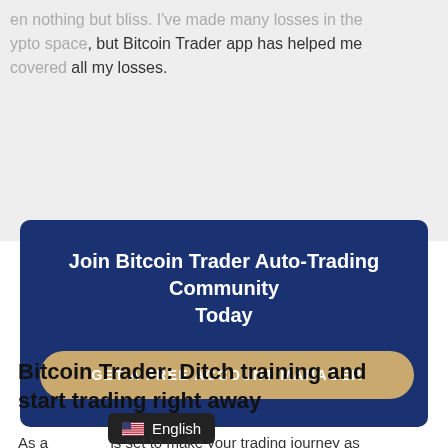en nothing but bliss. I've made many losses in the ypto space, but Bitcoin Trader app has helped me covered all my losses.
[Figure (infographic): Dark blue CTA banner with heading 'Join Bitcoin Trader Auto-Trading Community Today' and a gold rounded button 'GET A FREE ACCOUNT MANAGER']
Bitcoin Trader: Ditch training and start trading right away
As a               is set to make your trading journey as
English